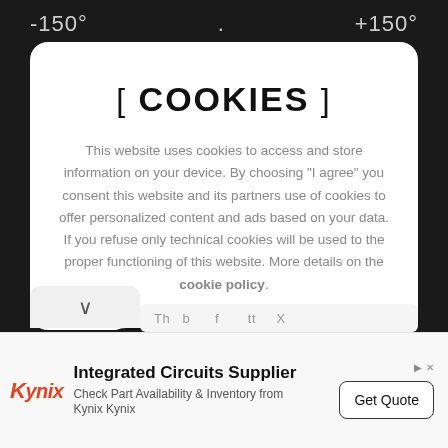-150°  .  +150°
[ COOKIES ]
This website uses cookies to access and store information on your device. By choosing "I agree" you consent this website and its partners use of cookies to offer personalized content and ads based on your data. If you refuse only technical cookies will be used to the proper functioning of this website. More details on the cookie policy.
I AGREE
Integrated Circuits Supplier
Check Part Availability & Inventory from Kynix Kynix
Get Quote